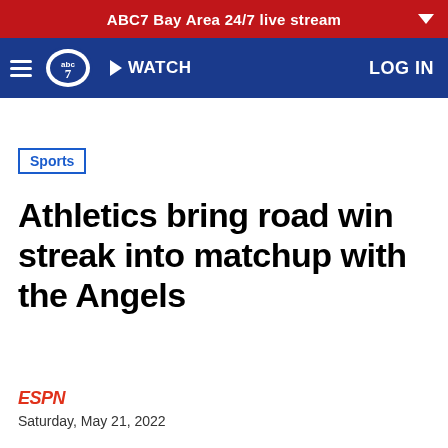ABC7 Bay Area 24/7 live stream
WATCH  LOG IN
Sports
Athletics bring road win streak into matchup with the Angels
ESPN
Saturday, May 21, 2022